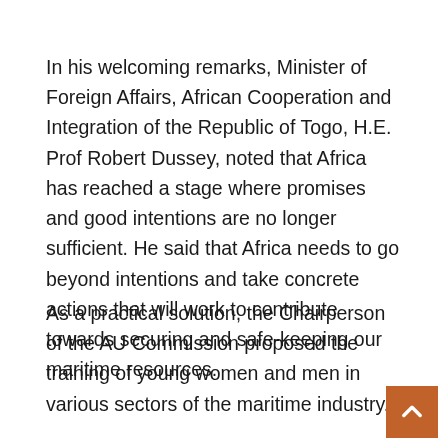In his welcoming remarks, Minister of Foreign Affairs, African Cooperation and Integration of the Republic of Togo, H.E. Prof Robert Dussey, noted that Africa has reached a stage where promises and good intentions are no longer sufficient. He said that Africa needs to go beyond intentions and take concrete actions that will work to contribute towards securing and safe-keeping our maritime resources.
As a practical solution, the Chairperson of the AU Commission proposed the training of young women and men in various sectors of the maritime industry.